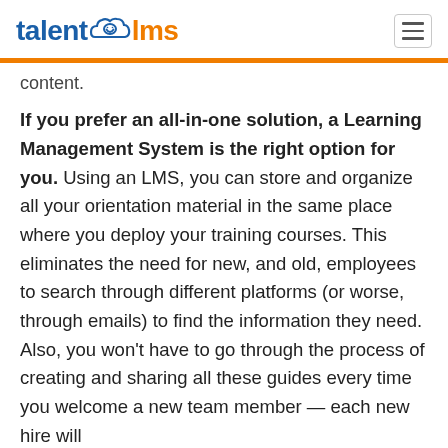talent lms
content.
If you prefer an all-in-one solution, a Learning Management System is the right option for you. Using an LMS, you can store and organize all your orientation material in the same place where you deploy your training courses. This eliminates the need for new, and old, employees to search through different platforms (or worse, through emails) to find the information they need. Also, you won't have to go through the process of creating and sharing all these guides every time you welcome a new team member — each new hire will